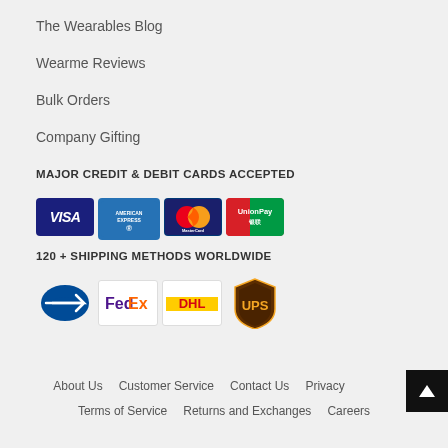The Wearables Blog
Wearme Reviews
Bulk Orders
Company Gifting
MAJOR CREDIT & DEBIT CARDS ACCEPTED
[Figure (logo): Payment card logos: Visa, American Express, Mastercard, UnionPay]
120 + SHIPPING METHODS WORLDWIDE
[Figure (logo): Shipping carrier logos: USPS, FedEx, DHL, UPS]
About Us   Customer Service   Contact Us   Privacy   Terms of Service   Returns and Exchanges   Careers